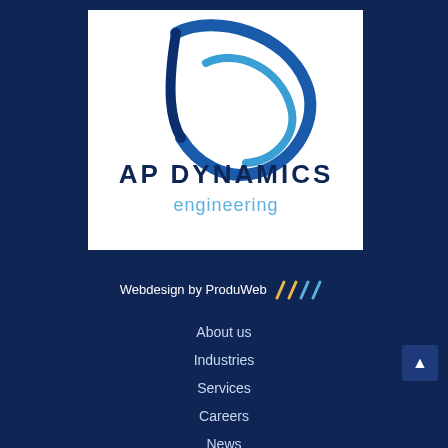[Figure (logo): AP Dynamics Engineering logo — blue swoosh/spiral graphic above bold dark navy text 'AP DYNAMICS' and lighter blue 'engineering' on white background]
Webdesign by ProduWeb ////
About us
Industries
Services
Careers
News
Contact us